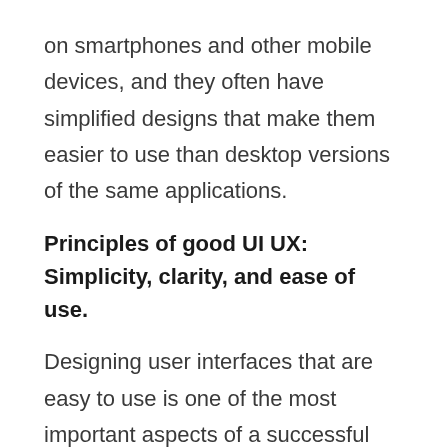on smartphones and other mobile devices, and they often have simplified designs that make them easier to use than desktop versions of the same applications.
Principles of good UI UX: Simplicity, clarity, and ease of use.
Designing user interfaces that are easy to use is one of the most important aspects of a successful product. The principle of simplicity dictates that user interfaces should be easy to understand and use while maintaining the necessary functionality. Clarity ensures that